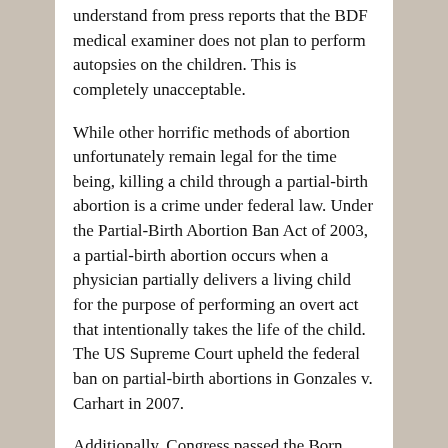understand from press reports that the BDF medical examiner does not plan to perform autopsies on the children. This is completely unacceptable.
While other horrific methods of abortion unfortunately remain legal for the time being, killing a child through a partial-birth abortion is a crime under federal law. Under the Partial-Birth Abortion Ban Act of 2003, a partial-birth abortion occurs when a physician partially delivers a living child for the purpose of performing an overt act that intentionally takes the life of the child. The US Supreme Court upheld the federal ban on partial-birth abortions in Gonzales v. Carhart in 2007.
Additionally, Congress passed the Born Alive Infants Protection Act to provide equal protections for children who are born alive during an abortion. If the bodies of other babies